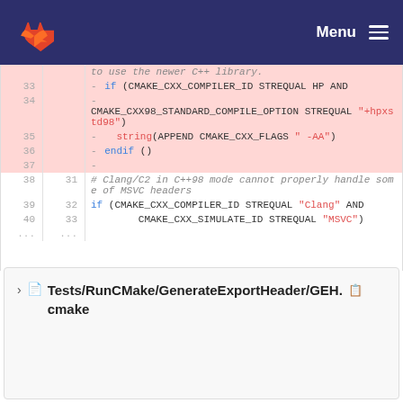Menu
[Figure (screenshot): GitLab code diff view showing lines 33-40 of a CMake file with deleted lines (pink background) and context lines. Lines 33-37 are deleted (red), lines 38-40 are context showing Clang/C2 C++98 mode MSVC header handling code.]
Tests/RunCMake/GenerateExportHeader/GEH.cmake